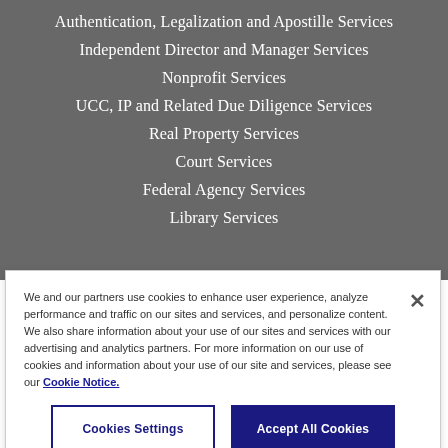Authentication, Legalization and Apostille Services
Independent Director and Manager Services
Nonprofit Services
UCC, IP and Related Due Diligence Services
Real Property Services
Court Services
Federal Agency Services
Library Services
We and our partners use cookies to enhance user experience, analyze performance and traffic on our sites and services, and personalize content. We also share information about your use of our sites and services with our advertising and analytics partners. For more information on our use of cookies and information about your use of our site and services, please see our Cookie Notice.